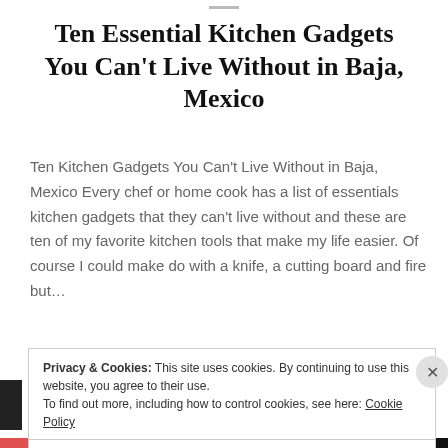Ten Essential Kitchen Gadgets You Can't Live Without in Baja, Mexico
Ten Kitchen Gadgets You Can't Live Without in Baja, Mexico Every chef or home cook has a list of essentials kitchen gadgets that they can't live without and these are ten of my favorite kitchen tools that make my life easier. Of course I could make do with a knife, a cutting board and fire but...
READ MORE
Privacy & Cookies: This site uses cookies. By continuing to use this website, you agree to their use. To find out more, including how to control cookies, see here: Cookie Policy
Close and accept